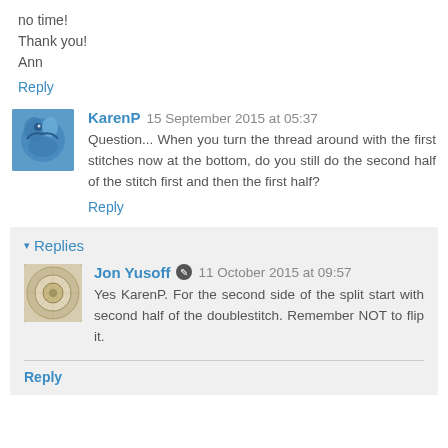no time!
Thank you!
Ann
Reply
KarenP  15 September 2015 at 05:37
Question... When you turn the thread around with the first stitches now at the bottom, do you still do the second half of the stitch first and then the first half?
Reply
Replies
Jon Yusoff  11 October 2015 at 09:57
Yes KarenP. For the second side of the split start with second half of the doublestitch. Remember NOT to flip it.
Reply